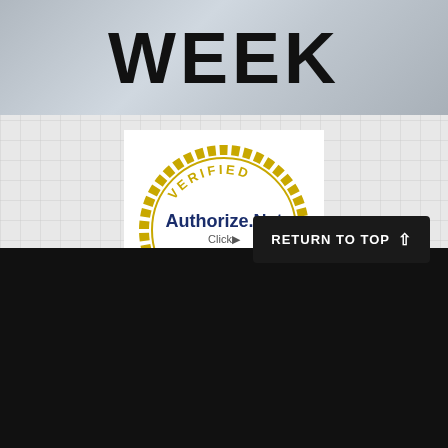[Figure (illustration): Banner image with large bold text 'WEEK' on a metallic/grunge brushed silver background]
[Figure (logo): Authorize.Net Verified Merchant badge/seal with gold ring border and blue Authorize.Net text with Click arrow]
RETURN TO TOP
STAY UP TO DATE
Join our Newsletter and follow us to recieve special deals and more!
Enter your email
JOIN
[Figure (illustration): Social media icons: Facebook, Twitter, Instagram in white on black background]